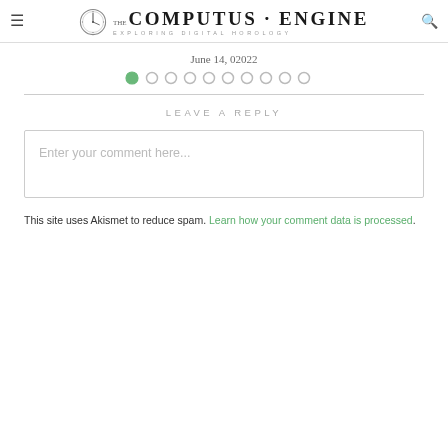THE COMPUTUS ENGINE — EXPLORING DIGITAL HOROLOGY
June 14, 02022
LEAVE A REPLY
Enter your comment here...
This site uses Akismet to reduce spam. Learn how your comment data is processed.